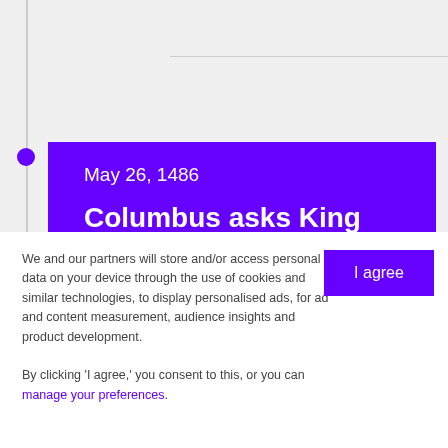May 26, 1486
Columbus asks King Ferdinand and Queen Isabella
Christopher Columbus asked King Ferdinand and Queen Isabella to fund his exploration. They didn't have any money because they were fighting to take back southern Spain
We and our partners will store and/or access personal data on your device through the use of cookies and similar technologies, to display personalised ads, for ad and content measurement, audience insights and product development.

By clicking 'I agree,' you consent to this, or you can manage your preferences.